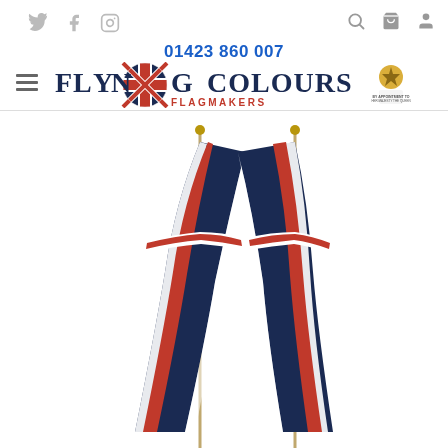Social media icons (Twitter, Facebook, Instagram), search, bag, and user icons
01423 860 007
[Figure (logo): Flying Colours Flagmakers logo with Union Jack flag graphic and Royal Warrant seal]
[Figure (photo): Two Union Jack flags on poles, draped downward against a white background]